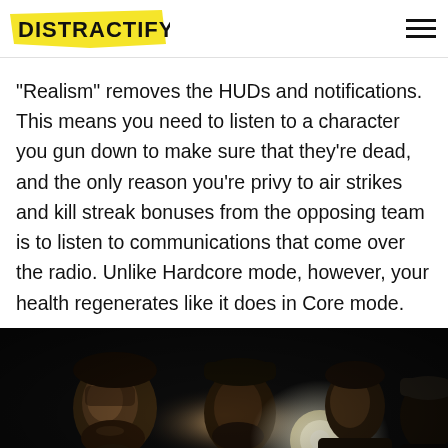DISTRACTIFY
"Realism" removes the HUDs and notifications. This means you need to listen to a character you gun down to make sure that they're dead, and the only reason you're privy to air strikes and kill streak bonuses from the opposing team is to listen to communications that come over the radio. Unlike Hardcore mode, however, your health regenerates like it does in Core mode.
[Figure (photo): Dark cinematic image of several people (soldiers/characters) lit by a bright central light source against a dark background, resembling a Call of Duty promotional screenshot]